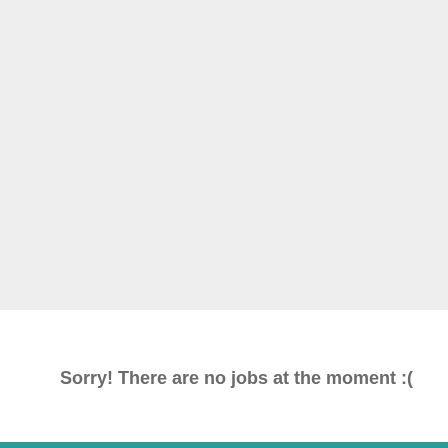[Figure (other): Large light gray empty rectangular area occupying the top portion of the page]
Sorry! There are no jobs at the moment :(
[Figure (other): Thin teal/cyan horizontal bar at the very bottom of the page]